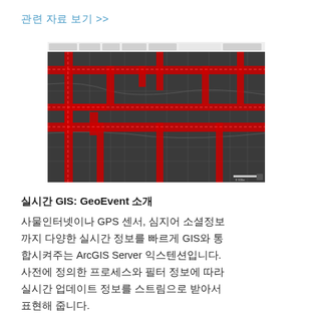관련 자료 보기 >>
[Figure (screenshot): ArcGIS GeoEvent map screenshot showing a dark gray street map with red highlighted routes/streets overlaid, displaying real-time GIS data visualization.]
실시간 GIS: GeoEvent 소개
사물인터넷이나 GPS 센서, 심지어 소셜정보까지 다양한 실시간 정보를 빠르게 GIS와 통합시켜주는 ArcGIS Server 익스텐션입니다. 사전에 정의한 프로세스와 필터 정보에 따라 실시간 업데이트 정보를 스트림으로 받아서 표현해 줍니다.